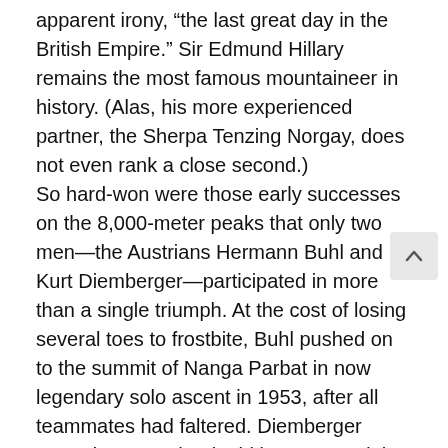apparent irony, “the last great day in the British Empire.” Sir Edmund Hillary remains the most famous mountaineer in history. (Alas, his more experienced partner, the Sherpa Tenzing Norgay, does not even rank a close second.)
So hard-won were those early successes on the 8,000-meter peaks that only two men—the Austrians Hermann Buhl and Kurt Diemberger—participated in more than a single triumph. At the cost of losing several toes to frostbite, Buhl pushed on to the summit of Nanga Parbat in now legendary solo ascent in 1953, after all teammates had faltered. Diemberger topped out on Dhaulagiri in 1960. And the two men joined forces on an admirably light, small-party first ascent of Broad Peak in 1957. Only eighteen days later, Buhl fell to his death on a neighboring peak when a cornice broke beneath his feet. His body